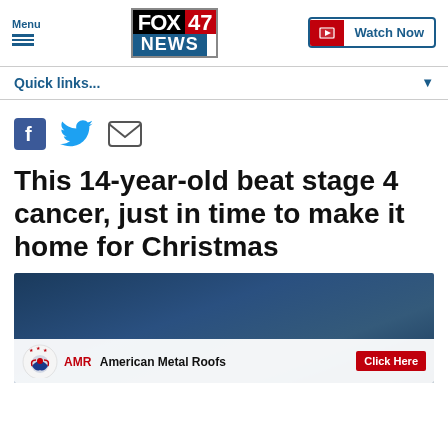FOX 47 NEWS — Menu | Watch Now
Quick links...
[Figure (screenshot): Social share icons: Facebook, Twitter, Email]
This 14-year-old beat stage 4 cancer, just in time to make it home for Christmas
[Figure (screenshot): Video thumbnail with blue background and American Metal Roofs advertisement overlay with Click Here button]